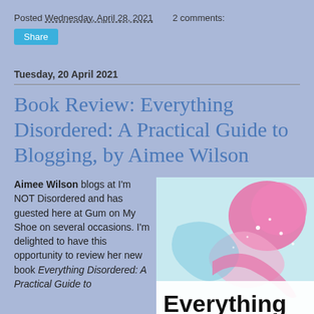Posted Wednesday, April 28, 2021   2 comments:
Share
Tuesday, 20 April 2021
Book Review: Everything Disordered: A Practical Guide to Blogging, by Aimee Wilson
Aimee Wilson blogs at I'm NOT Disordered and has guested here at Gum on My Shoe on several occasions. I'm delighted to have this opportunity to review her new book Everything Disordered: A Practical Guide to...
[Figure (photo): Book cover of 'Everything Disordered: A Practical Guide to Blogging' by Aimee Wilson, showing pink and light blue abstract fluid art design with the title 'Everything' visible at the bottom in bold black text.]